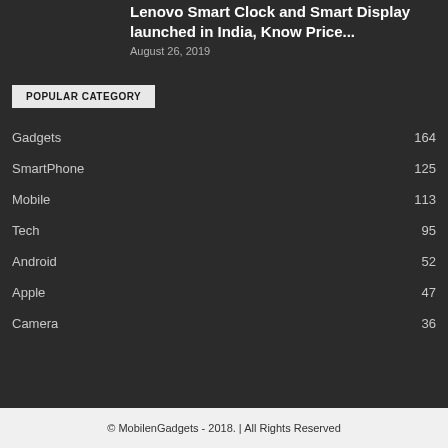Lenovo Smart Clock and Smart Display launched in India, Know Price...
August 26, 2019
POPULAR CATEGORY
Gadgets 164
SmartPhone 125
Mobile 113
Tech 95
Android 52
Apple 47
Camera 36
© MobilenGadgets - 2018. | All Rights Reserved